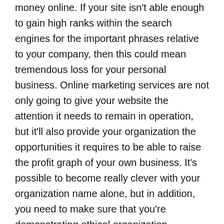money online. If your site isn't able enough to gain high ranks within the search engines for the important phrases relative to your company, then this could mean tremendous loss for your personal business. Online marketing services are not only going to give your website the attention it needs to remain in operation, but it'll also provide your organization the opportunities it requires to be able to raise the profit graph of your own business. It's possible to become really clever with your organization name alone, but in addition, you need to make sure that you're demonstrating ethical organization practices. If you're unable to grab a reasonable share from this huge traffic, your company can't be successful.
You'll desire to be able enough to maximize profits and remain in business indefinitely, so both of these things are indispensable. This might be ideal for the industry owner with a lot of start up capital and has the ability to have a